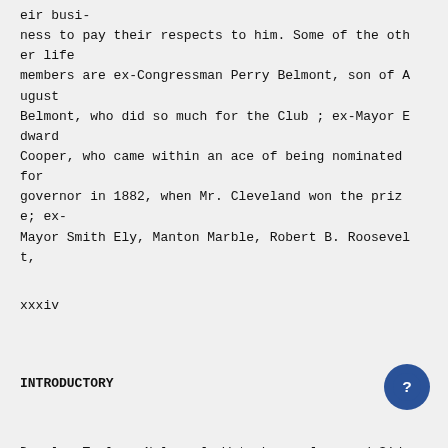eir busi-
ness to pay their respects to him. Some of the oth
er life
members are ex-Congressman Perry Belmont, son of A
ugust
Belmont, who did so much for the Club ; ex-Mayor E
dward
Cooper, who came within an ace of being nominated for
governor in 1882, when Mr. Cleveland won the priz
e; ex-
Mayor Smith Ely, Manton Marble, Robert B. Roosevel
t,
xxxiv
INTRODUCTORY
Douglas Taylor, Nelson J. Waterbury, Jr., and Sidn
ey Web-
ster, nephew of Franklin Pierce and son-in-law
Heimilton
Fish